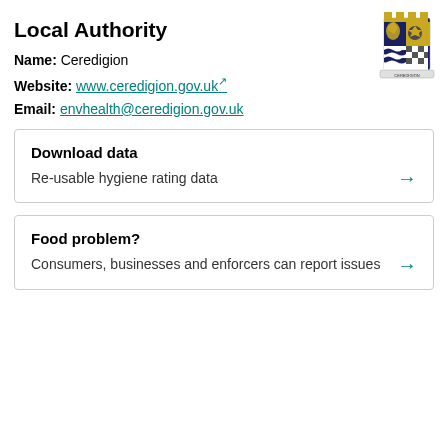Local Authority
Name: Ceredigion
Website: www.ceredigion.gov.uk
Email: envhealth@ceredigion.gov.uk
[Figure (illustration): Ceredigion Council coat of arms / crest logo]
Download data
Re-usable hygiene rating data
Food problem?
Consumers, businesses and enforcers can report issues